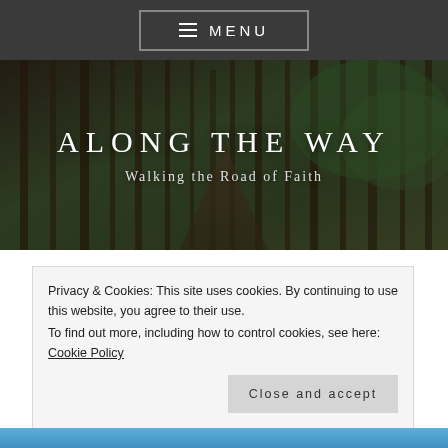≡ MENU
[Figure (photo): Forest path with tall pine trees, dark moody atmosphere]
ALONG THE WAY
Walking the Road of Faith
Privacy & Cookies: This site uses cookies. By continuing to use this website, you agree to their use.
To find out more, including how to control cookies, see here: Cookie Policy
Close and accept